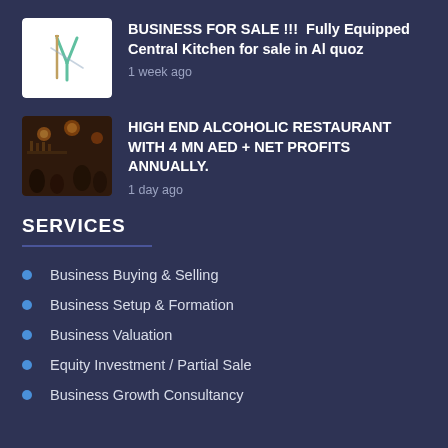BUSINESS FOR SALE !!!  Fully Equipped Central Kitchen for sale in Al quoz
1 week ago
HIGH END ALCOHOLIC RESTAURANT WITH 4 MN AED + NET PROFITS ANNUALLY.
1 day ago
SERVICES
Business Buying & Selling
Business Setup & Formation
Business Valuation
Equity Investment / Partial Sale
Business Growth Consultancy